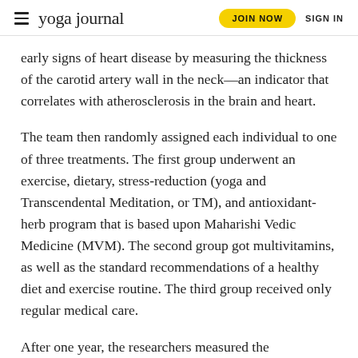yoga journal | JOIN NOW | SIGN IN
early signs of heart disease by measuring the thickness of the carotid artery wall in the neck—an indicator that correlates with atherosclerosis in the brain and heart.
The team then randomly assigned each individual to one of three treatments. The first group underwent an exercise, dietary, stress-reduction (yoga and Transcendental Meditation, or TM), and antioxidant-herb program that is based upon Maharishi Vedic Medicine (MVM). The second group got multivitamins, as well as the standard recommendations of a healthy diet and exercise routine. The third group received only regular medical care.
After one year, the researchers measured the participants' carotid arteries again and the findings were dramatic. Those in the MVM group experienced more than a 10 percent reduction